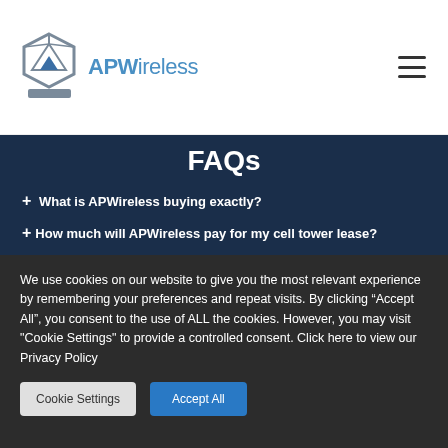APWireless
FAQs
+ What is APWireless buying exactly?
+How much will APWireless pay for my cell tower lease?
We use cookies on our website to give you the most relevant experience by remembering your preferences and repeat visits. By clicking “Accept All”, you consent to the use of ALL the cookies. However, you may visit "Cookie Settings" to provide a controlled consent. Click here to view our Privacy Policy